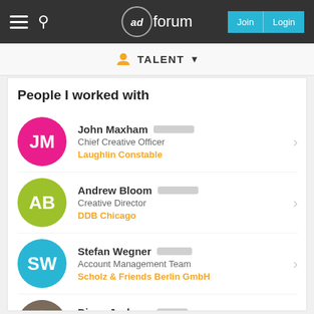adforum — Join | Login
TALENT
People I worked with
John Maxham — Chief Creative Officer — Laughlin Constable
Andrew Bloom — Creative Director — DDB Chicago
Stefan Wegner — Account Management Team — Scholz & Friends Berlin GmbH
Diane Jackson — Chief Production Officer, — DDB Chicago